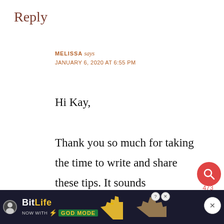Reply
MELISSA says
JANUARY 6, 2020 AT 6:55 PM
Hi Kay,

Thank you so much for taking the time to write and share these tips. It sounds absolutely amazing and a great adaption if someone wants a lower alcohol cocktail. I haven't tried blending it in, but I'm excited to give it
[Figure (screenshot): BitLife advertisement banner with 'NOW WITH GOD MODE' text and finger-pointing illustration]
[Figure (other): Like/heart widget showing count 473 and heart icon button]
[Figure (other): Red search button icon]